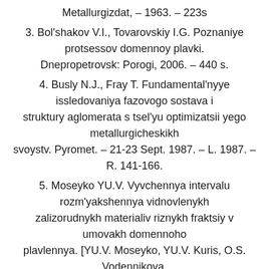Metallurgizdat, – 1963. – 223s
3. Bol'shakov V.I., Tovarovskiy I.G. Poznaniye protsessov domennoy plavki. Dnepropetrovsk: Porogi, 2006. – 440 s.
4. Busly N.J., Fray T. Fundamental'nyye issledovaniya fazovogo sostava i struktury aglomerata s tsel'yu optimizatsii yego metallurgicheskikh svoystv. Pyromet. – 21-23 Sept. 1987. – L. 1987. – R. 141-166.
5. Moseyko YU.V. Vyvchennya intervalu rozm'yakshennya vidnovlenykh zalizorudnykh materialiv riznykh fraktsiy v umovakh domennoho plavlennya. [YU.V. Moseyko, YU.V. Kuris, O.S. Vodennikova,